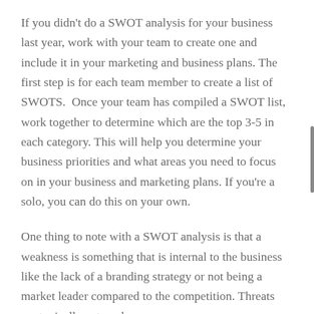If you didn't do a SWOT analysis for your business last year, work with your team to create one and include it in your marketing and business plans. The first step is for each team member to create a list of SWOTS.  Once your team has compiled a SWOT list, work together to determine which are the top 3-5 in each category. This will help you determine your business priorities and what areas you need to focus on in your business and marketing plans. If you're a solo, you can do this on your own.
One thing to note with a SWOT analysis is that a weakness is something that is internal to the business like the lack of a branding strategy or not being a market leader compared to the competition. Threats are typically external